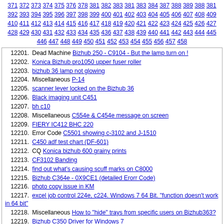371 372 373 374 375 376 378 381 382 383 381 383 384 387 388 389 388 381 392 393 394 395 396 397 398 399 400 401 402 403 404 405 406 407 408 409 410 411 412 413 414 415 416 417 418 419 420 421 422 423 424 425 426 427 428 429 430 431 432 433 434 435 436 437 438 439 440 441 442 443 444 445 446 447 448 449 450 451 452 453 454 455 456 457 458
12201. Dead Machine Bizhub 250 - C9104 - But the lamp turn on !
12202. Konica Bizhub pro1050 upper fuser roller
12203. bizhub 36 lamp not glowing
12204. Miscellaneous P-14
12205. scanner lever locked on the Bizhub 36
12206. Black imaging unit C451
12207. bh c10
12208. Miscellaneous C554e & C454e message on screen
12209. FIERY IC412 BHC 220
12210. Error Code C5501 showing c-3102 and J-1510
12211. C450 adf test chart (DF-601)
12212. CQ Konica bizhub 600 grainy prints
12213. CF3102 Banding
12214. find out what's causing scuff marks on C8000
12215. Bizhub C364e - 0X9CE1 (detailed Erorr Code)
12216. photo copy issue in KM
12217. excel job control 224e, c224. Windows 7 64 Bit. "function doesn't work in 64 bit"
12218. Miscellaneous How to "hide" trays from specific users on Bizhub363?
12219. Bizhub C350 Driver for Windows 7
12220. bizhub c203 tray 2 won't close
12221. Jamming km bizhub c7000
12222. C452 P-31 oil can